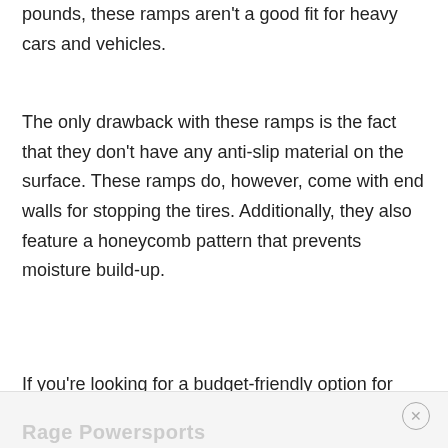pounds, these ramps aren't a good fit for heavy cars and vehicles.
The only drawback with these ramps is the fact that they don't have any anti-slip material on the surface. These ramps do, however, come with end walls for stopping the tires. Additionally, they also feature a honeycomb pattern that prevents moisture build-up.
If you're looking for a budget-friendly option for your low car, these ones will serve you just fine.
Rage Powersports